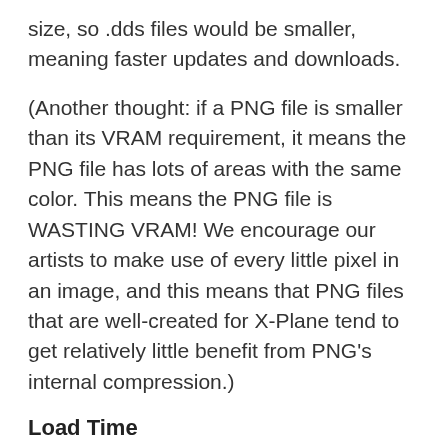size, so .dds files would be smaller, meaning faster updates and downloads.
(Another thought: if a PNG file is smaller than its VRAM requirement, it means the PNG file has lots of areas with the same color. This means the PNG file is WASTING VRAM! We encourage our artists to make use of every little pixel in an image, and this means that PNG files that are well-created for X-Plane tend to get relatively little benefit from PNG’s internal compression.)
Load Time
Image load time is a significant factor in X-Plane. There are several reasons why DDS files could load a lot faster than PNG.
1. The actual DDS file is smaller – less data to load